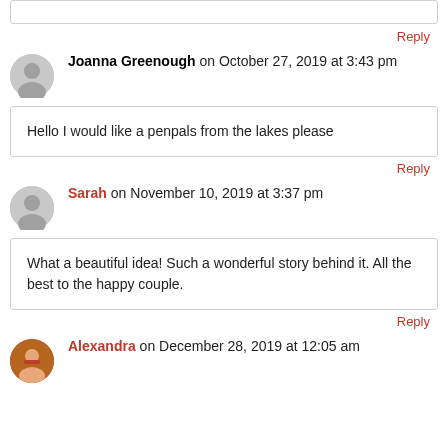(top box partial)
Reply
Joanna Greenough on October 27, 2019 at 3:43 pm
Hello I would like a penpals from the lakes please
Reply
Sarah on November 10, 2019 at 3:37 pm
What a beautiful idea! Such a wonderful story behind it. All the best to the happy couple.
Reply
Alexandra on December 28, 2019 at 12:05 am